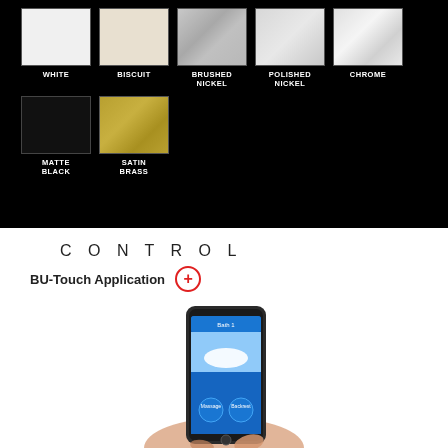[Figure (illustration): Color swatches on black background showing finish options: WHITE (white swatch), BISCUIT (off-white/cream swatch), BRUSHED NICKEL (brushed silver swatch), POLISHED NICKEL (polished silver swatch), CHROME (bright chrome swatch), MATTE BLACK (black swatch), SATIN BRASS (gold/brass swatch)]
CONTROL
BU-Touch Application +
[Figure (photo): Hand holding a smartphone displaying the BU-Touch app interface with a bathtub image and blue control buttons for Massage and Backrest features]